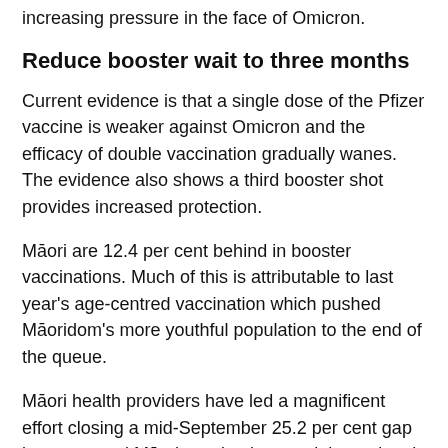increasing pressure in the face of Omicron.
Reduce booster wait to three months
Current evidence is that a single dose of the Pfizer vaccine is weaker against Omicron and the efficacy of double vaccination gradually wanes. The evidence also shows a third booster shot provides increased protection.
Māori are 12.4 per cent behind in booster vaccinations. Much of this is attributable to last year's age-centred vaccination which pushed Māoridom's more youthful population to the end of the queue.
Māori health providers have led a magnificent effort closing a mid-September 25.2 per cent gap between total Māori vaccinations and the national rate to 10 per cent. An unintended consequence of the catch-up is that more than 108,000 Māori vaccinated since November 1 will not become eligible for a booster